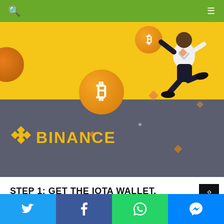Navigation bar with search and menu icons
[Figure (illustration): Binance promotional banner with yellow top half showing a running person and bitcoin coins, gray bottom half with Binance logo in gold]
STEP 1: GET THE IOTA WALLET.
Social share bar with Twitter, Facebook, WhatsApp, and Messenger buttons